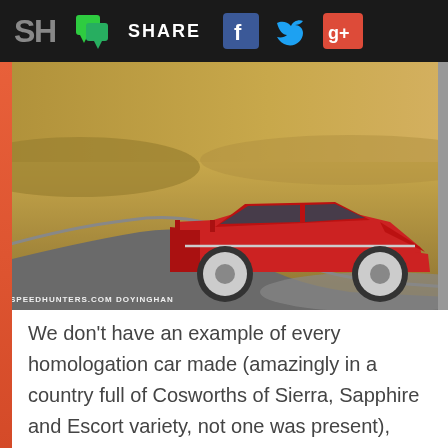SH | SHARE [social icons: Facebook, Twitter, Google+]
[Figure (photo): Red Mitsubishi Lancer Evolution sedan parked on a winding road with golden moorland in the background. SPEEDHUNTERS.COM DOYINGHAN watermark in lower left.]
We don't have an example of every homologation car made (amazingly in a country full of Cosworths of Sierra, Sapphire and Escort variety, not one was present), but that's something to aim towards for the next time.